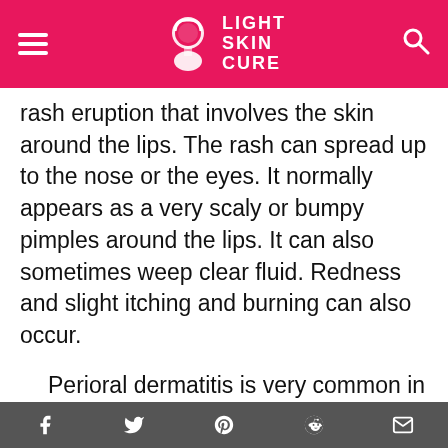LIGHT SKIN CURE
rash eruption that involves the skin around the lips. The rash can spread up to the nose or the eyes. It normally appears as a very scaly or bumpy pimples around the lips. It can also sometimes weep clear fluid. Redness and slight itching and burning can also occur.
Perioral dermatitis is very common in the women, but it also tends to affect the young children and even infants. Without any right treatment, cases of the perioral
Facebook Twitter Pinterest Reddit Email